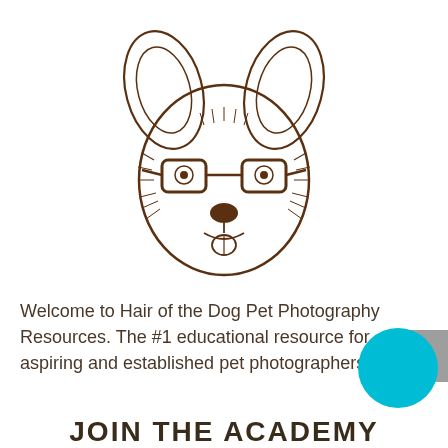[Figure (illustration): Pen-and-ink style illustration of a corgi dog face wearing thick-rimmed glasses, drawn in dark brown ink on white background]
Welcome to Hair of the Dog Pet Photography Resources. The #1 educational resource for aspiring and established pet photographers.
JOIN THE ACADEMY